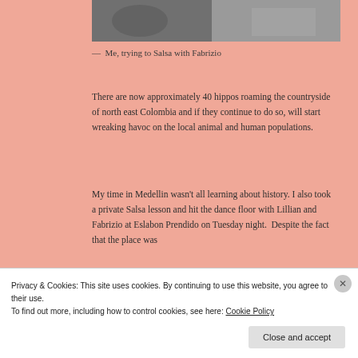[Figure (photo): Bottom portion of a photo showing feet/legs of people dancing, cropped at top of page]
— Me, trying to Salsa with Fabrizio
There are now approximately 40 hippos roaming the countryside of north east Colombia and if they continue to do so, will start wreaking havoc on the local animal and human populations.
My time in Medellin wasn't all learning about history. I also took a private Salsa lesson and hit the dance floor with Lillian and Fabrizio at Eslabon Prendido on Tuesday night.  Despite the fact that the place was
Privacy & Cookies: This site uses cookies. By continuing to use this website, you agree to their use.
To find out more, including how to control cookies, see here: Cookie Policy
Close and accept